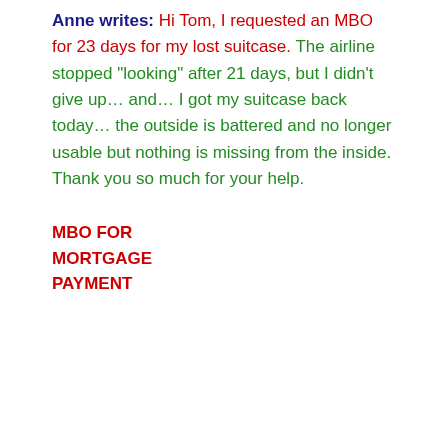Anne writes: Hi Tom, I requested an MBO for 23 days for my lost suitcase. The airline stopped "looking" after 21 days, but I didn't give up… and… I got my suitcase back today… the outside is battered and no longer usable but nothing is missing from the inside. Thank you so much for your help.
MBO FOR MORTGAGE PAYMENT